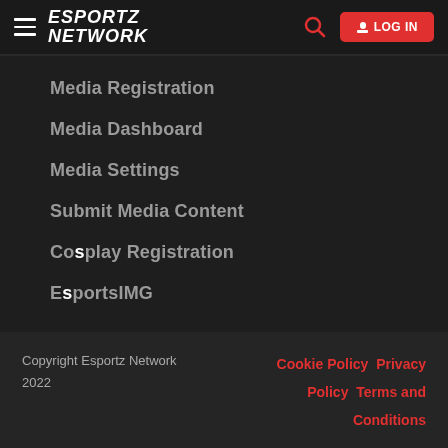ESPORTZ NETWORK — LOG IN
Media Registration
Media Dashboard
Media Settings
Submit Media Content
Cosplay Registration
EsportsIMG
Copyright Esportz Network 2022   Cookie Policy   Privacy Policy   Terms and Conditions